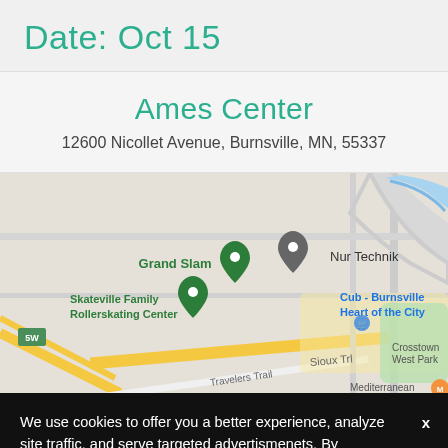Date: Oct 15
Ames Center
12600 Nicollet Avenue, Burnsville, MN, 55337
[Figure (map): Google Maps screenshot showing the area around Ames Center in Burnsville, MN. Visible labels include Grand Slam, Nur Technik, Skateville Family Rollerskating Center, Cub - Burnsville Heart of the City, Crosstown West Park, Sioux Trl, Mediterranean, and highway 5W.]
We use cookies to offer you a better experience, analyze site traffic, and serve targeted advertismenets. By continuing to use this website, you consent to the use of cookies in accordance with our privacy policy.